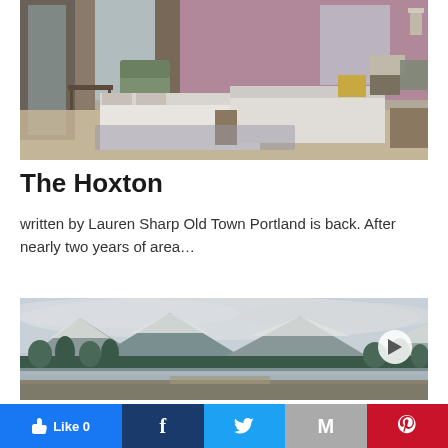[Figure (photo): Hotel room interior with two beds with white linens, golden/grey decorative pillows, a green armchair, wooden furniture, large windows with grey curtains, and a mauve/purple accent wall]
The Hoxton
written by Lauren Sharp Old Town Portland is back. After nearly two years of area…
[Figure (photo): Snowy mountain landscape with pine trees, a frozen or partly frozen lake/river in the foreground, and snow-capped mountains under a cloudy sky]
Like 0 | Facebook | Twitter | Gmail | Pinterest